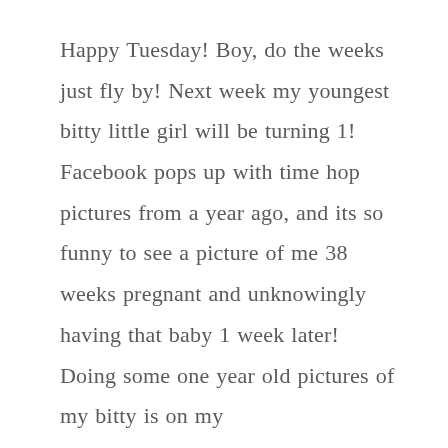Happy Tuesday! Boy, do the weeks just fly by! Next week my youngest bitty little girl will be turning 1! Facebook pops up with time hop pictures from a year ago, and its so funny to see a picture of me 38 weeks pregnant and unknowingly having that baby 1 week later! Doing some one year old pictures of my bitty is on my